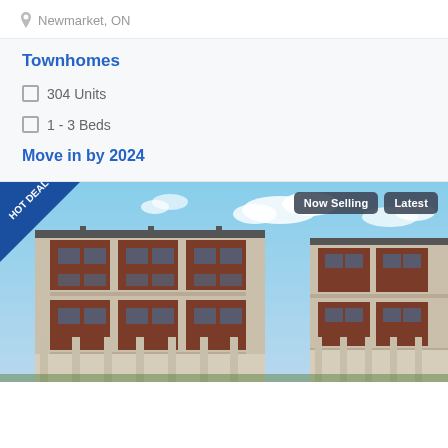Newmarket, ON
Townhomes
304 Units
1 - 3 Beds
Move in by 2024
[Figure (photo): Exterior photograph of a multi-storey brick townhome development with large windows, balconies, and a blue sky with clouds. Hot Deal banner in top-left corner. 'Now Selling' and 'Latest' badges in top-right.]